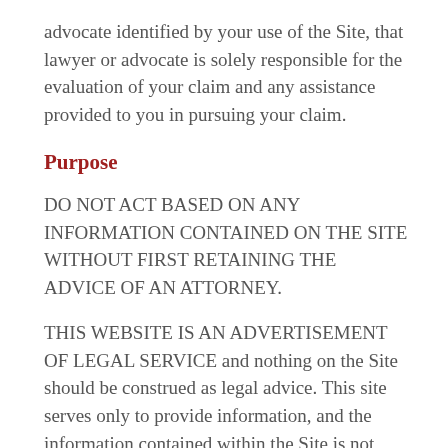advocate identified by your use of the Site, that lawyer or advocate is solely responsible for the evaluation of your claim and any assistance provided to you in pursuing your claim.
Purpose
DO NOT ACT BASED ON ANY INFORMATION CONTAINED ON THE SITE WITHOUT FIRST RETAINING THE ADVICE OF AN ATTORNEY.
THIS WEBSITE IS AN ADVERTISEMENT OF LEGAL SERVICE and nothing on the Site should be construed as legal advice. This site serves only to provide information, and the information contained within the Site is not guaranteed to be correct, complete, current, or to reflect recent legal developments and/or legal variances among different jurisdictions. The website owner serves...